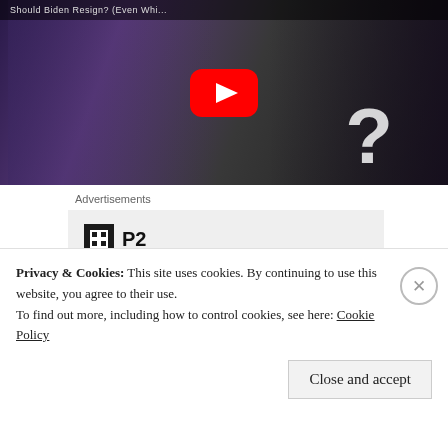[Figure (screenshot): YouTube video thumbnail showing a man with long hair in a suit gesturing with hands, a YouTube play button in the center, and a blurred image of a person at a microphone with a large white question mark on the right side.]
Advertisements
[Figure (screenshot): Advertisement box with P2 logo (black square with white grid icon) and headline text 'Getting your team on' (cut off)]
Privacy & Cookies: This site uses cookies. By continuing to use this website, you agree to their use.
To find out more, including how to control cookies, see here: Cookie Policy
Close and accept